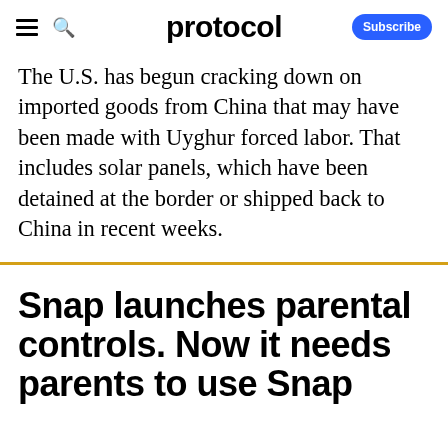protocol
The U.S. has begun cracking down on imported goods from China that may have been made with Uyghur forced labor. That includes solar panels, which have been detained at the border or shipped back to China in recent weeks.
Snap launches parental controls. Now it needs parents to use Snap